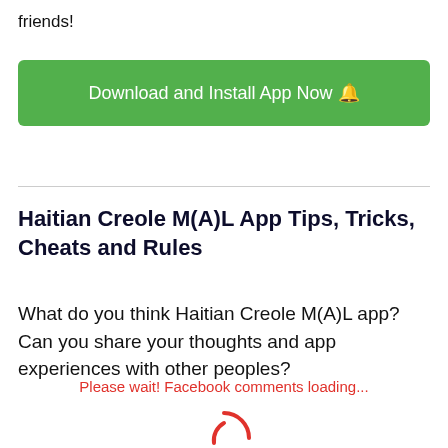friends!
Download and Install App Now 🔔
Haitian Creole M(A)L App Tips, Tricks, Cheats and Rules
What do you think Haitian Creole M(A)L app? Can you share your thoughts and app experiences with other peoples?
Please wait! Facebook comments loading...